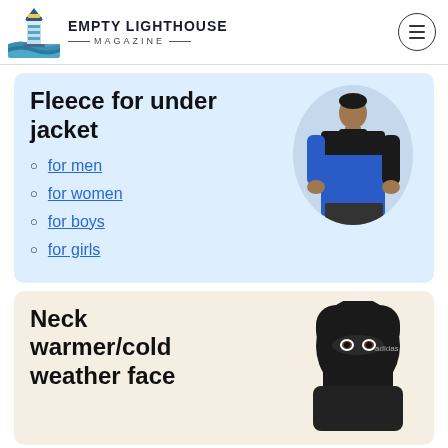EMPTY LIGHTHOUSE MAGAZINE
Fleece for under jacket
for men
for women
for boys
for girls
[Figure (photo): Man wearing a blue and black fleece jacket]
Neck warmer/cold weather face
[Figure (photo): Person wearing a black neck warmer / cold weather face mask balaclava]